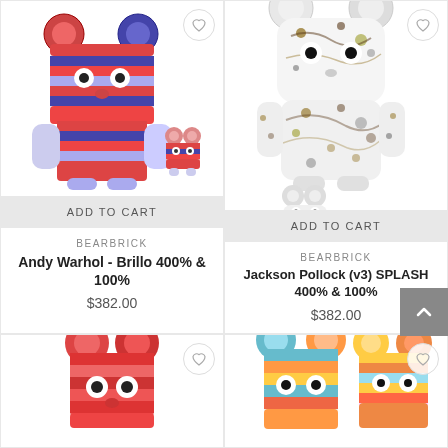[Figure (photo): Bearbrick Andy Warhol Brillo 400% and 100% figures with red/blue/white pattern]
ADD TO CART
BEARBRICK
Andy Warhol - Brillo 400% & 100%
$382.00
[Figure (photo): Bearbrick Jackson Pollock v3 SPLASH 400% and 100% figures with white splatter paint pattern]
ADD TO CART
BEARBRICK
Jackson Pollock (v3) SPLASH 400% & 100%
$382.00
[Figure (photo): Bearbrick figure with red pattern, partially visible at bottom]
[Figure (photo): Bearbrick figures with colorful pattern, partially visible at bottom]